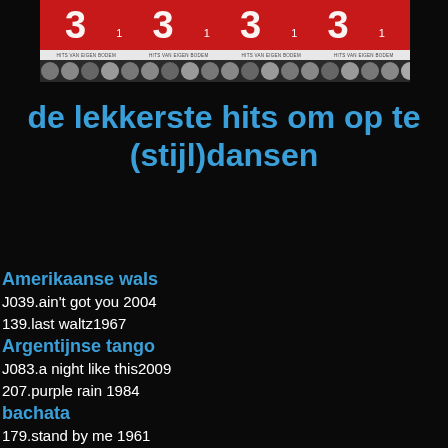[Figure (other): Album cover image showing red circular logos, white strip with small text 'HITS VAN EIGEN BODEM', and a strip of black and white portrait photos at the bottom]
de lekkerste hits om op te (stijl)dansen
Amerikaanse wals
J039.ain't got you 2004
139.last waltz1967
Argentijnse tango
J083.a night like this2009
207.purple rain 1984
bachata
179.stand by me 1961
P005.there's a kind of hush 1967
925.there is a kind of hush 1967
cha cha cha
020.bangerhart 1996